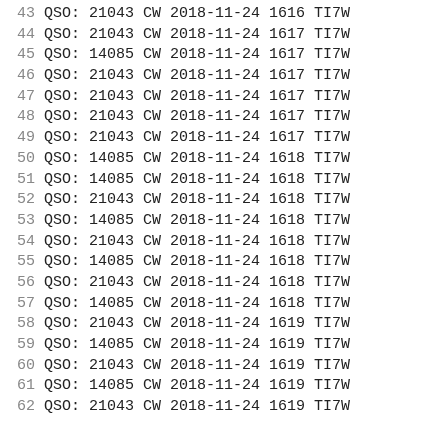43 QSO: 21043 CW 2018-11-24 1616 TI7W
44 QSO: 21043 CW 2018-11-24 1617 TI7W
45 QSO: 14085 CW 2018-11-24 1617 TI7W
46 QSO: 21043 CW 2018-11-24 1617 TI7W
47 QSO: 21043 CW 2018-11-24 1617 TI7W
48 QSO: 21043 CW 2018-11-24 1617 TI7W
49 QSO: 21043 CW 2018-11-24 1617 TI7W
50 QSO: 14085 CW 2018-11-24 1618 TI7W
51 QSO: 14085 CW 2018-11-24 1618 TI7W
52 QSO: 21043 CW 2018-11-24 1618 TI7W
53 QSO: 14085 CW 2018-11-24 1618 TI7W
54 QSO: 21043 CW 2018-11-24 1618 TI7W
55 QSO: 14085 CW 2018-11-24 1618 TI7W
56 QSO: 21043 CW 2018-11-24 1618 TI7W
57 QSO: 14085 CW 2018-11-24 1618 TI7W
58 QSO: 21043 CW 2018-11-24 1619 TI7W
59 QSO: 14085 CW 2018-11-24 1619 TI7W
60 QSO: 21043 CW 2018-11-24 1619 TI7W
61 QSO: 14085 CW 2018-11-24 1619 TI7W
62 QSO: 21043 CW 2018-11-24 1619 TI7W